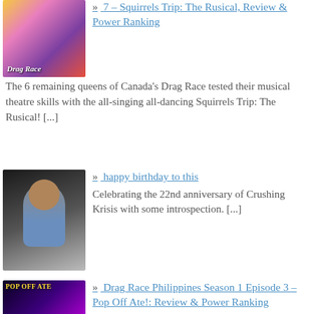[Figure (photo): Colorful promotional image for Canada's Drag Race with multiple queens in vibrant outfits]
7 – Squirrels Trip: The Rusical, Review & Power Ranking
The 6 remaining queens of Canada's Drag Race tested their musical theatre skills with the all-singing all-dancing Squirrels Trip: The Rusical! [...]
[Figure (photo): Person with dark curly hair and glasses wearing a light blue blazer, posed against a textured background]
happy birthday to this
Celebrating the 22nd anniversary of Crushing Krisis with some introspection. [...]
[Figure (photo): Promotional image for Pop Off Ate with queens in colorful outfits on a dark purple/pink background with neon text]
Drag Race Philippines Season 1 Episode 3 – Pop Off Ate!: Review & Power Ranking
The queens of Drag Race Philippines form rival pop groups in Pop Off Ate, singing and dancing before they deliver a scary folklore